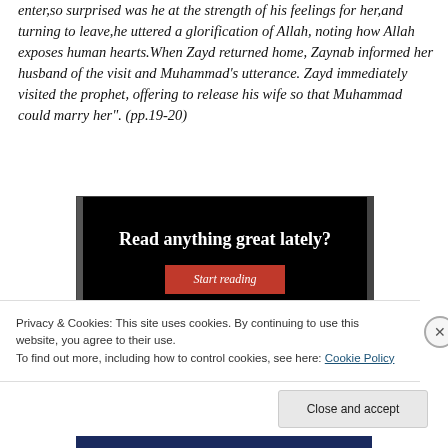enter,so surprised was he at the strength of his feelings for her,and turning to leave,he uttered a glorification of Allah, noting how Allah exposes human hearts.When Zayd returned home, Zaynab informed her husband of the visit and Muhammad's utterance. Zayd immediately visited the prophet, offering to release his wife so that Muhammad could marry her". (pp.19-20)
[Figure (screenshot): Dark banner advertisement with text 'Read anything great lately?' and a red 'Start reading' button]
Privacy & Cookies: This site uses cookies. By continuing to use this website, you agree to their use.
To find out more, including how to control cookies, see here: Cookie Policy
Close and accept